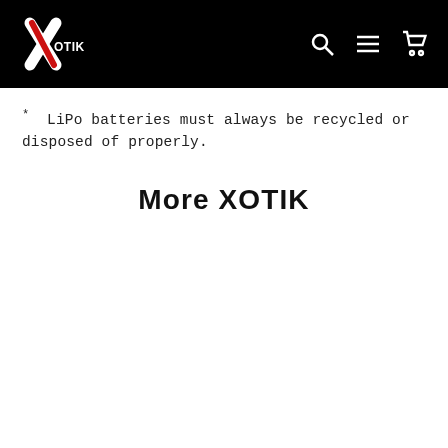XOTIK
* LiPo batteries must always be recycled or disposed of properly.
More XOTIK